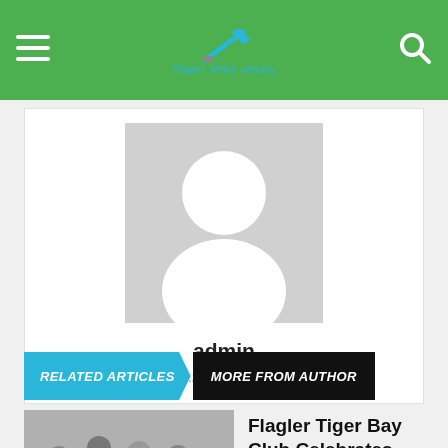Flagler News Weekly
[Figure (illustration): Default user avatar placeholder — grey square with white silhouette person icon]
admin
http://www.flaglernewsweekly.com
RELATED ARTICLES   MORE FROM AUTHOR
Flagler Tiger Bay Club Celebrates Anniversary with Wine Tasting & Social
[Figure (photo): People at an event, appears to be a social gathering or celebration]